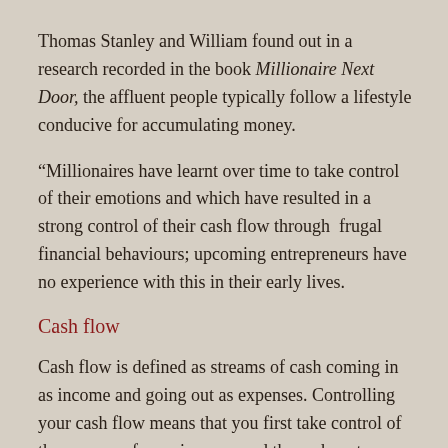Thomas Stanley and William found out in a research recorded in the book Millionaire Next Door, the affluent people typically follow a lifestyle conducive for accumulating money.
“Millionaires have learnt over time to take control of their emotions and which have resulted in a strong control of their cash flow through  frugal financial behaviours; upcoming entrepreneurs have no experience with this in their early lives.
Cash flow
Cash flow is defined as streams of cash coming in as income and going out as expenses. Controlling your cash flow means that you first take control of the sources of your income, and then where to spend it in that order. For a small business owner, this may mean considering business